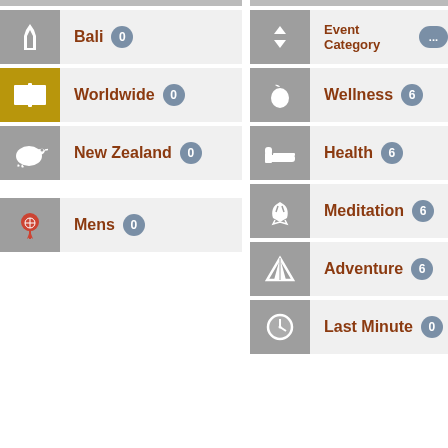Bali 0
Worldwide 0
New Zealand 0
Mens 0
Event Category ...
Wellness 6
Health 6
Meditation 6
Adventure 6
Last Minute 0